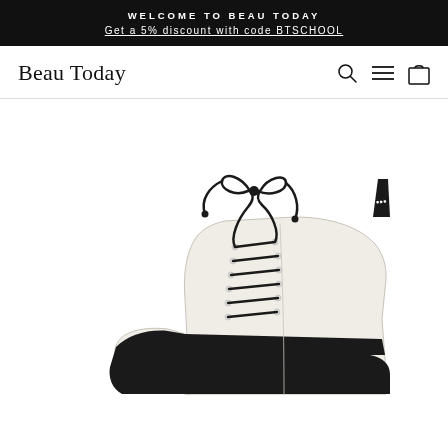WELCOME TO BEAU TODAY
Get a 5% discount with code BTSCHOOL
Beau Today
[Figure (photo): Close-up photo of a cream/off-white lace-up ankle boot with black laces, black sole, and branded pull-tab at heel, displayed on white background]